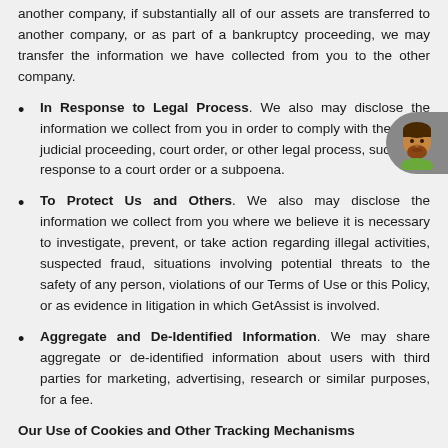another company, if substantially all of our assets are transferred to another company, or as part of a bankruptcy proceeding, we may transfer the information we have collected from you to the other company.
In Response to Legal Process. We also may disclose the information we collect from you in order to comply with the law, a judicial proceeding, court order, or other legal process, such as in response to a court order or a subpoena.
To Protect Us and Others. We also may disclose the information we collect from you where we believe it is necessary to investigate, prevent, or take action regarding illegal activities, suspected fraud, situations involving potential threats to the safety of any person, violations of our Terms of Use or this Policy, or as evidence in litigation in which GetAssist is involved.
Aggregate and De-Identified Information. We may share aggregate or de-identified information about users with third parties for marketing, advertising, research or similar purposes, for a fee.
Our Use of Cookies and Other Tracking Mechanisms
We and our third party service providers use cookies and other